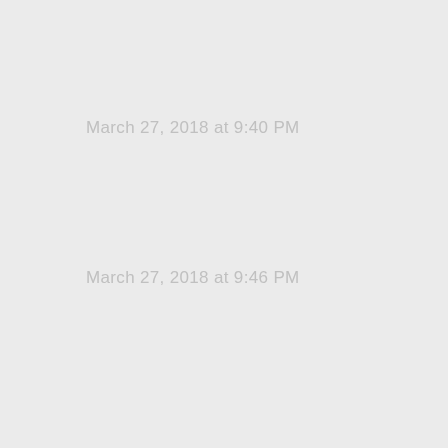March 27, 2018 at 9:40 PM
March 27, 2018 at 9:46 PM